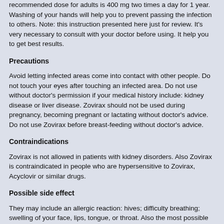recommended dose for adults is 400 mg two times a day for 1 year. Washing of your hands will help you to prevent passing the infection to others. Note: this instruction presented here just for review. It's very necessary to consult with your doctor before using. It help you to get best results.
Precautions
Avoid letting infected areas come into contact with other people. Do not touch your eyes after touching an infected area. Do not use without doctor's permission if your medical history include: kidney disease or liver disease. Zovirax should not be used during pregnancy, becoming pregnant or lactating without doctor's advice. Do not use Zovirax before breast-feeding without doctor's advice.
Contraindications
Zovirax is not allowed in patients with kidney disorders. Also Zovirax is contraindicated in people who are hypersensitive to Zovirax, Acyclovir or similar drugs.
Possible side effect
They may include an allergic reaction: hives; difficulty breathing; swelling of your face, lips, tongue, or throat. Also the most possible side effects include: pain in your lower back;